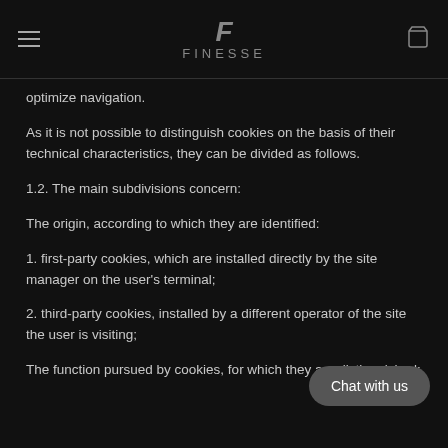FINESSE
optimize navigation.
As it is not possible to distinguish cookies on the basis of their technical characteristics, they can be divided as follows.
1.2. The main subdivisions concern:
The origin, according to which they are identified:
1. first-party cookies, which are installed directly by the site manager on the user's terminal;
2. third-party cookies, installed by a different operator of the site the user is visiting;
The function pursued by cookies, for which they are distinguished: